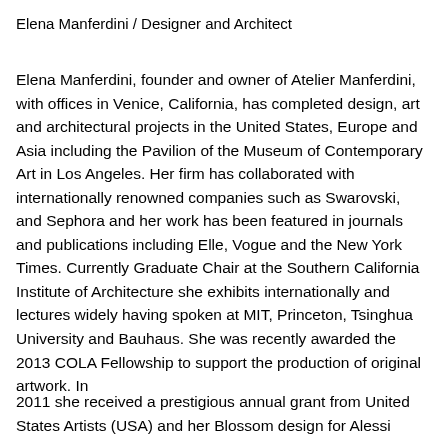Elena Manferdini / Designer and Architect
Elena Manferdini, founder and owner of Atelier Manferdini, with offices in Venice, California, has completed design, art and architectural projects in the United States, Europe and Asia including the Pavilion of the Museum of Contemporary Art in Los Angeles. Her firm has collaborated with internationally renowned companies such as Swarovski, and Sephora and her work has been featured in journals and publications including Elle, Vogue and the New York Times. Currently Graduate Chair at the Southern California Institute of Architecture she exhibits internationally and lectures widely having spoken at MIT, Princeton, Tsinghua University and Bauhaus. She was recently awarded the 2013 COLA Fellowship to support the production of original artwork. In
2011 she received a prestigious annual grant from United States Artists (USA) and her Blossom design for Alessi